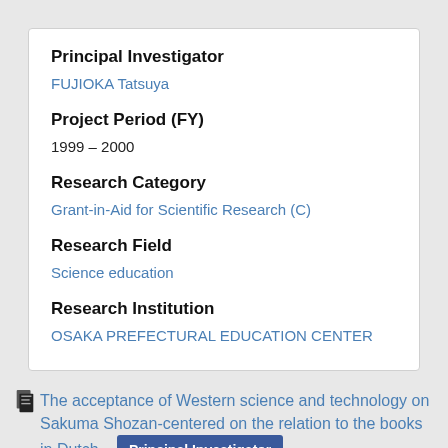Principal Investigator
FUJIOKA Tatsuya
Project Period (FY)
1999 – 2000
Research Category
Grant-in-Aid for Scientific Research (C)
Research Field
Science education
Research Institution
OSAKA PREFECTURAL EDUCATION CENTER
The acceptance of Western science and technology on Sakuma Shozan-centered on the relation to the books in Dutch - Principal Investigator